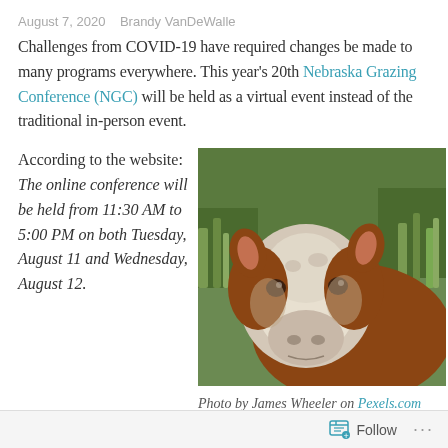August 7, 2020   Brandy VanDeWalle
Challenges from COVID-19 have required changes be made to many programs everywhere. This year's 20th Nebraska Grazing Conference (NGC) will be held as a virtual event instead of the traditional in-person event.
According to the website:
The online conference will be held from 11:30 AM to 5:00 PM on both Tuesday, August 11 and Wednesday, August 12.
[Figure (photo): Close-up photo of a Hereford cow with white face and brown body, standing in tall green grass. Photo by James Wheeler on Pexels.com]
Photo by James Wheeler on Pexels.com
Follow